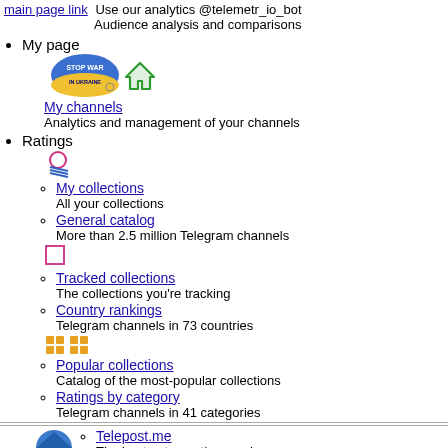main page link | Use our analytics @telemetr_io_bot | Audience analysis and comparisons
My page
[Figure (illustration): Stop War in Ukraine badge and home icon]
My channels
Analytics and management of your channels
Ratings
My collections
All your collections
General catalog
More than 2.5 million Telegram channels
Tracked collections
The collections you're tracking
Country rankings
Telegram channels in 73 countries
Popular collections
Catalog of the most-popular collections
Ratings by category
Telegram channels in 41 categories
[Figure (logo): Telepost.me logo with bar chart icon]
Telepost.me
The best auto-posting service
Tools
My page
Detailed channel analytics
Use our analytics @telemetr_io_bot | Audience analysis and comparisons